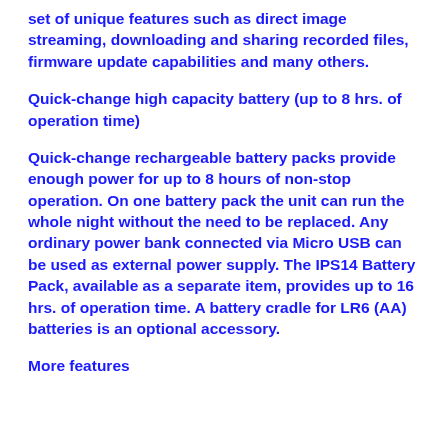set of unique features such as direct image streaming, downloading and sharing recorded files, firmware update capabilities and many others.
Quick-change high capacity battery (up to 8 hrs. of operation time)
Quick-change rechargeable battery packs provide enough power for up to 8 hours of non-stop operation. On one battery pack the unit can run the whole night without the need to be replaced. Any ordinary power bank connected via Micro USB can be used as external power supply. The IPS14 Battery Pack, available as a separate item, provides up to 16 hrs. of operation time. A battery cradle for LR6 (AA) batteries is an optional accessory.
More features